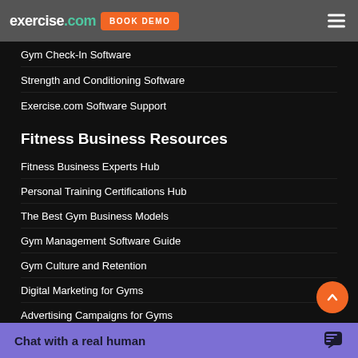exercise.com BOOK DEMO
Gym Check-In Software
Strength and Conditioning Software
Exercise.com Software Support
Fitness Business Resources
Fitness Business Experts Hub
Personal Training Certifications Hub
The Best Gym Business Models
Gym Management Software Guide
Gym Culture and Retention
Digital Marketing for Gyms
Advertising Campaigns for Gyms
Managing Gym Employees
Chat with a real human